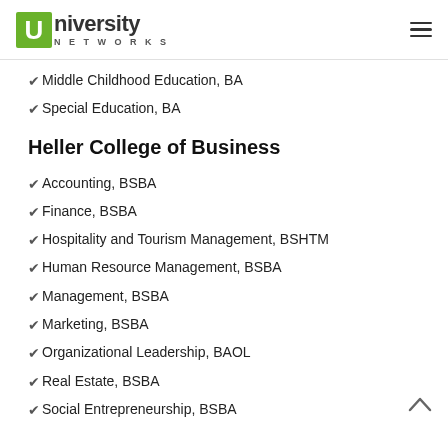University Networks
Middle Childhood Education, BA
Special Education, BA
Heller College of Business
Accounting, BSBA
Finance, BSBA
Hospitality and Tourism Management, BSHTM
Human Resource Management, BSBA
Management, BSBA
Marketing, BSBA
Organizational Leadership, BAOL
Real Estate, BSBA
Social Entrepreneurship, BSBA